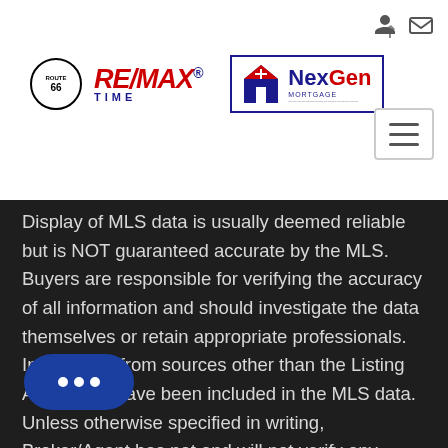[Figure (logo): RE/MAX Route 66 Time and NexGen Mortgage logos in page header]
Display of MLS data is usually deemed reliable but is NOT guaranteed accurate by the MLS. Buyers are responsible for verifying the accuracy of all information and should investigate the data themselves or retain appropriate professionals. Information from sources other than the Listing Agent may have been included in the MLS data. Unless otherwise specified in writing, Broker/Agent has not and will not verify any information obtained from other sources. The Broker/Agent providing the information contained herein may or may not have been the Listing and/or Selling Agent.
Based on information from August 31, 2022 5:06 AM UTC The information being provided by CRMLS is for the visitor's personal, noncommercial use and may not be used for any purpose other